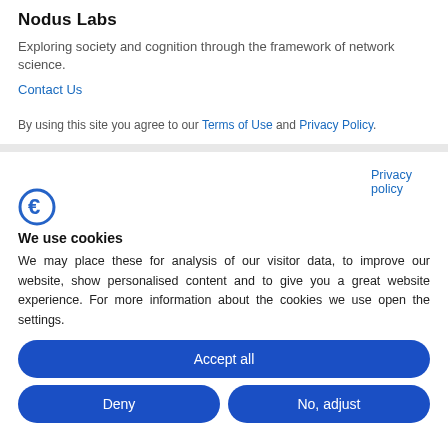Nodus Labs
Exploring society and cognition through the framework of network science.
Contact Us
By using this site you agree to our Terms of Use and Privacy Policy.
Privacy policy
[Figure (logo): Stylized blue letter F or Euro-style icon — Cookiebot logo]
We use cookies
We may place these for analysis of our visitor data, to improve our website, show personalised content and to give you a great website experience. For more information about the cookies we use open the settings.
Accept all
Deny
No, adjust